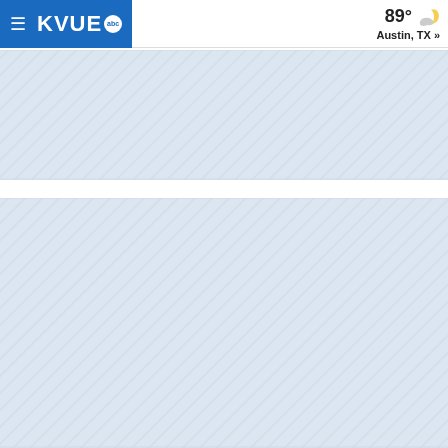KVUE abc | 89° Austin, TX »
[Figure (other): Diagonal striped placeholder/advertisement area below the header]
[Figure (other): Larger diagonal striped placeholder/advertisement area in lower portion of page]